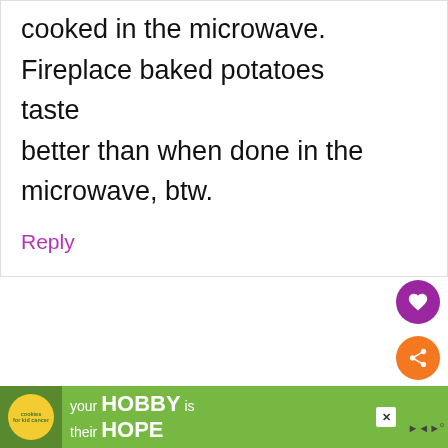cooked in the microwave. Fireplace baked potatoes taste better than when done in the microwave, btw.
Reply
Cathy
December 30, 2009 at 7:50 am
[Figure (infographic): Advertisement banner: cookies for kids cancer - your HOBBY is their HOPE]
[Figure (infographic): WHAT'S NEXT arrow - My Shopping Stylist... promotional widget with image]
[Figure (infographic): Purple circle heart/like button]
[Figure (infographic): Orange circle share button]